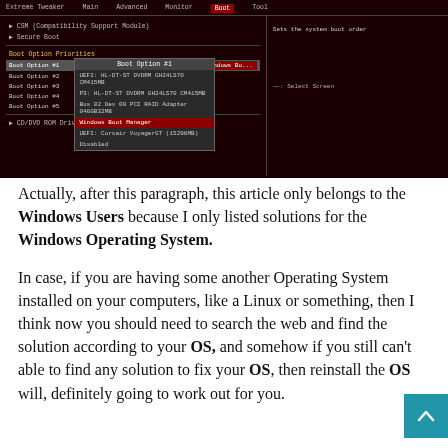[Figure (screenshot): ASUS BIOS/UEFI firmware screenshot showing Boot tab with Boot Option Priorities. A dropdown menu shows Boot Option #1 options: UEFI: HL-DT-ST DVDRM GH24LS70 CM415MB, P3: HL-DT-ST DVDRM GH24LS70 CM415MB, Bus 02 Dev 00 PCI RAID Adapter 046GB32MB, Windows Boot Manager (highlighted in red), UEFI: Corsair VoyagerGT (15296MB), Disabled. The top navigation bar shows tabs: Extreme Tweaker, Main, Advanced, Monitor, Boot (active), Tool.]
Actually, after this paragraph, this article only belongs to the Windows Users because I only listed solutions for the Windows Operating System.
In case, if you are having some another Operating System installed on your computers, like a Linux or something, then I think now you should need to search the web and find the solution according to your OS, and somehow if you still can't able to find any solution to fix your OS, then reinstall the OS will, definitely going to work out for you.